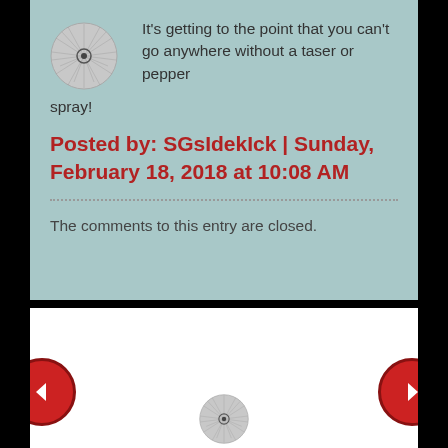It's getting to the point that you can't go anywhere without a taser or pepper spray!
Posted by: SGsIdekIck | Sunday, February 18, 2018 at 10:08 AM
The comments to this entry are closed.
[Figure (screenshot): Navigation arrows (left and right) and partial avatar image at the bottom of the page]
[Figure (illustration): Circular decorative avatar icon]